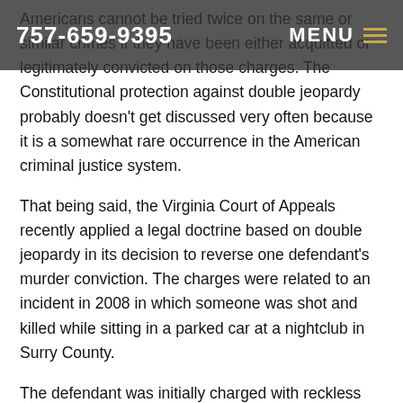757-659-9395   MENU
Americans cannot be tried twice on the same or similar crimes if they have been either acquitted or legitimately convicted on those charges. The Constitutional protection against double jeopardy probably doesn't get discussed very often because it is a somewhat rare occurrence in the American criminal justice system.
That being said, the Virginia Court of Appeals recently applied a legal doctrine based on double jeopardy in its decision to reverse one defendant's murder conviction. The charges were related to an incident in 2008 in which someone was shot and killed while sitting in a parked car at a nightclub in Surry County.
The defendant was initially charged with reckless handling of a firearm; a misdemeanor. Someone had fired